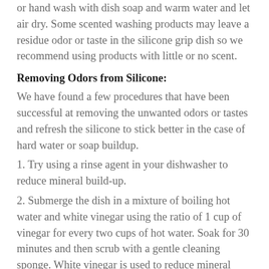or hand wash with dish soap and warm water and let air dry. Some scented washing products may leave a residue odor or taste in the silicone grip dish so we recommend using products with little or no scent.
Removing Odors from Silicone:
We have found a few procedures that have been successful at removing the unwanted odors or tastes and refresh the silicone to stick better in the case of hard water or soap buildup.
1. Try using a rinse agent in your dishwasher to reduce mineral build-up.
2. Submerge the dish in a mixture of boiling hot water and white vinegar using the ratio of 1 cup of vinegar for every two cups of hot water. Soak for 30 minutes and then scrub with a gentle cleaning sponge. White vinegar is used to reduce mineral build-up from hard water and can be used regularly without harming the dish. Rinse and dry